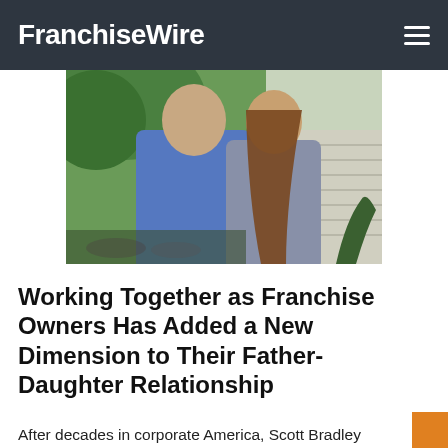FranchiseWire
[Figure (photo): A man in a blue polo shirt standing next to a woman with long brown hair, posed outdoors in front of green trees and shrubs.]
Working Together as Franchise Owners Has Added a New Dimension to Their Father-Daughter Relationship
After decades in corporate America, Scott Bradley